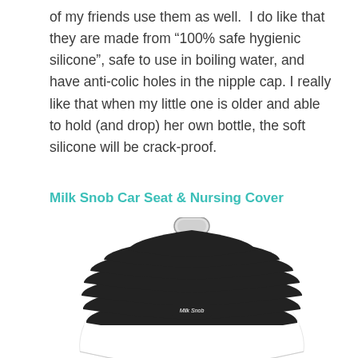of my friends use them as well.  I do like that they are made from "100% safe hygienic silicone", safe to use in boiling water, and have anti-colic holes in the nipple cap. I really like that when my little one is older and able to hold (and drop) her own bottle, the soft silicone will be crack-proof.
Milk Snob Car Seat & Nursing Cover
[Figure (photo): A black and white striped Milk Snob car seat and nursing cover, bunched up in a dome shape with a white handle at the top. The fabric has horizontal black and white stripes. A small black label with white text reading 'Milk Snob' is visible on the cover.]